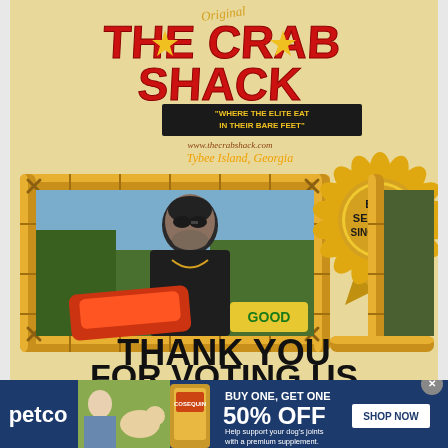[Figure (advertisement): The Crab Shack restaurant advertisement featuring logo, photo of man with crab legs, gold award ribbon saying 'Best Seafood Since 1998!', bamboo frame, and text 'Thank You For Voting Us']
[Figure (advertisement): Petco banner ad: BUY ONE, GET ONE 50% OFF on dog joint supplement. Shows woman with dog, product bottle, Shop Now button.]